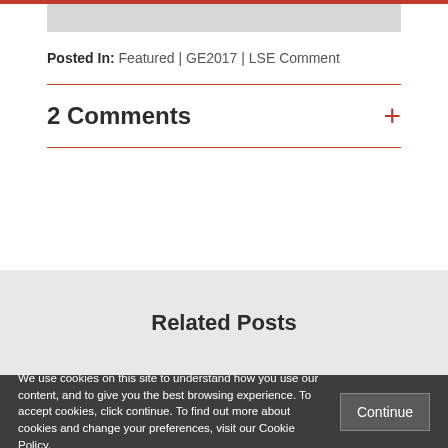Posted In: Featured | GE2017 | LSE Comment
2 Comments
Related Posts
We use cookies on this site to understand how you use our content, and to give you the best browsing experience. To accept cookies, click continue. To find out more about cookies and change your preferences, visit our Cookie Policy.